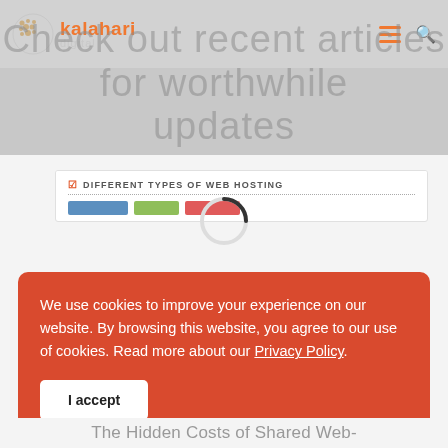kalahari digital
Check out recent articles for worthwhile updates
[Figure (screenshot): Partial thumbnail of a blog post card showing 'DIFFERENT TYPES OF WEB HOSTING' header with colored bars, with a loading spinner overlay]
We use cookies to improve your experience on our website. By browsing this website, you agree to our use of cookies. Read more about our Privacy Policy.
I accept
The Hidden Costs of Shared Web-